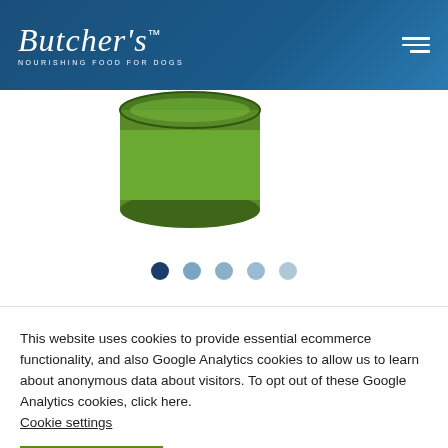[Figure (logo): Butcher's logo with italic serif font and tagline 'NOURISHING FOOD FOR DOGS' on dark blue header background]
[Figure (photo): Partial view of a Butcher's dog food can with green label, partially cropped at top]
[Figure (infographic): Carousel navigation dots: one dark navy active dot followed by four lighter blue inactive dots]
This website uses cookies to provide essential ecommerce functionality, and also Google Analytics cookies to allow us to learn about anonymous data about visitors. To opt out of these Google Analytics cookies, click here. Cookie settings
ACCEPT ALL